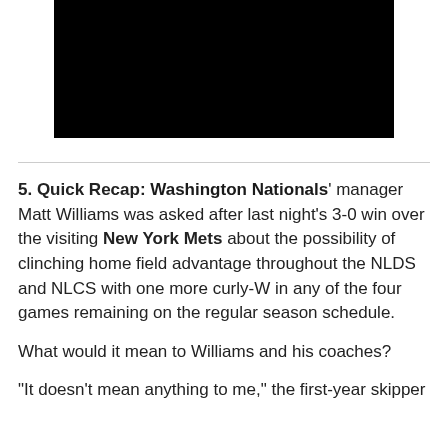[Figure (photo): Black video player placeholder rectangle]
5. Quick Recap: Washington Nationals' manager Matt Williams was asked after last night's 3-0 win over the visiting New York Mets about the possibility of clinching home field advantage throughout the NLDS and NLCS with one more curly-W in any of the four games remaining on the regular season schedule.
What would it mean to Williams and his coaches?
"It doesn't mean anything to me," the first-year skipper